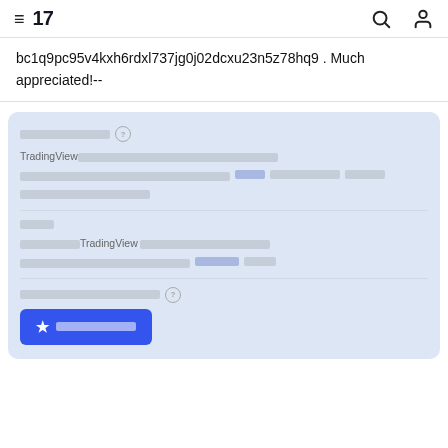≡ 17 [search icon] [user icon]
bc1q9pc95v4kxh6rdxl737jg0j02dcxu23n5z78hq9 . Much appreciated!--
[Redacted card section with TradingView branding and Japanese/CJK text content including subscription info, plan details, and upgrade button]